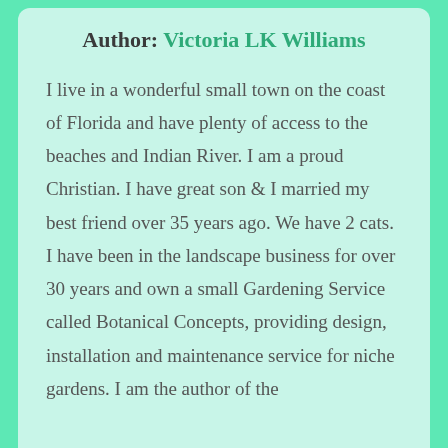Author: Victoria LK Williams
I live in a wonderful small town on the coast of Florida and have plenty of access to the beaches and Indian River. I am a proud Christian. I have great son & I married my best friend over 35 years ago. We have 2 cats. I have been in the landscape business for over 30 years and own a small Gardening Service called Botanical Concepts, providing design, installation and maintenance service for niche gardens. I am the author of the